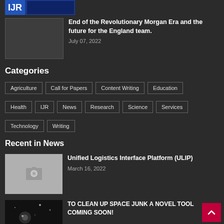[Figure (logo): Website logo banner at top left]
End of the Revolutionary Morgan Era and the future for the England team.
July 07, 2022
Categories
Agriculture
Call for Papers
Content Writing
Education
Health
IJR
News
Research
Science
Services
Technology
Writing
Recent in News
Unified Logistics Interface Platform (ULIP)
March 16, 2022
TO CLEAN UP SPACE JUNK A NOVEL TOOL COMING SOON!